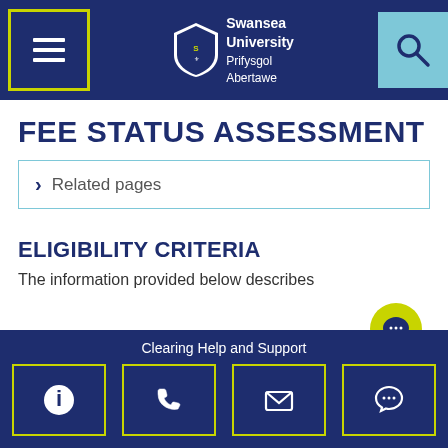[Figure (screenshot): Swansea University website navigation header with menu button (hamburger icon with yellow-green border), Swansea University logo and bilingual name (Prifysgol Abertawe), and search button (magnifying glass on light blue background)]
FEE STATUS ASSESSMENT
> Related pages
ELIGIBILITY CRITERIA
The information provided below describes
Clearing Help and Support